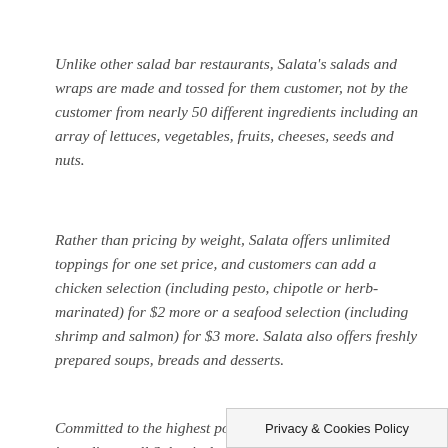Unlike other salad bar restaurants, Salata's salads and wraps are made and tossed for them customer, not by the customer from nearly 50 different ingredients including an array of lettuces, vegetables, fruits, cheeses, seeds and nuts.
Rather than pricing by weight, Salata offers unlimited toppings for one set price, and customers can add a chicken selection (including pesto, chipotle or herb-marinated) for $2 more or a seafood selection (including shrimp and salmon) for $3 more. Salata also offers freshly prepared soups, breads and desserts.
Committed to the highest possible quality and cleanest ingredients, all Salata's dressings are made in-house with no added preservatives and are available for take-home purchase in 12...
Privacy & Cookies Policy